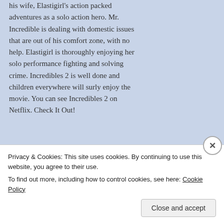his wife, Elastigirl's action packed adventures as a solo action hero. Mr. Incredible is dealing with domestic issues that are out of his comfort zone, with no help. Elastigirl is thoroughly enjoying her solo performance fighting and solving crime. Incredibles 2 is well done and children everywhere will surly enjoy the movie. You can see Incredibles 2 on Netflix. Check It Out!
LOVING IT!
44,075
[Incredibles 2 is Oscar nominated for Best Animated Feature Film]
Privacy & Cookies: This site uses cookies. By continuing to use this website, you agree to their use.
To find out more, including how to control cookies, see here: Cookie Policy
Close and accept